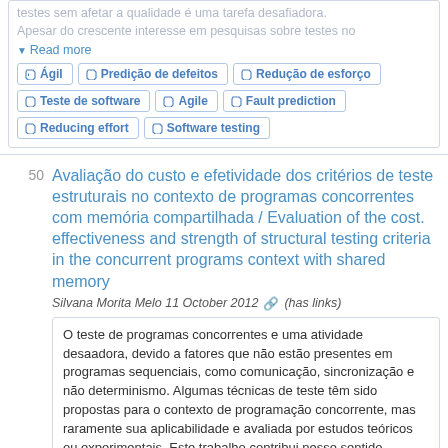testes sem afetar a qualidade é uma tarefa desafiadora. Apesar do crescente interesse em pesquisas sobre testes no
▼ Read more
Ágil
Predição de defeitos
Redução de esforço
Teste de software
Agile
Fault prediction
Reducing effort
Software testing
Avaliação do custo e efetividade dos critérios de teste estruturais no contexto de programas concorrentes com memória compartilhada / Evaluation of the cost. effectiveness and strength of structural testing criteria in the concurrent programs context with shared memory
Silvana Morita Melo 11 October 2012 🔗 (has links)
O teste de programas concorrentes e uma atividade desaadora, devido a fatores que não estão presentes em programas sequenciais, como comunicação, sincronização e não determinismo. Algumas técnicas de teste têm sido propostas para o contexto de programação concorrente, mas raramente sua aplicabilidade e avaliada por estudos teóricos ou experimentais. Este trabalho contribui nesse sentido, propondo e conduzindo um estudo experimental para avaliar o